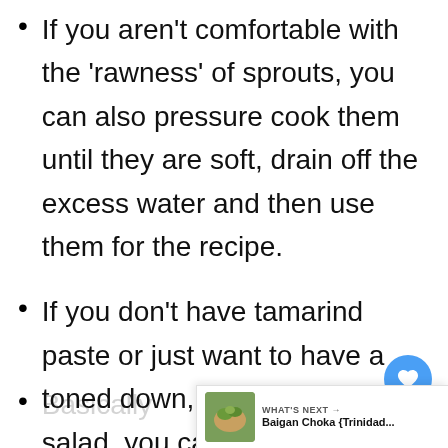If you aren't comfortable with the 'rawness' of sprouts, you can also pressure cook them until they are soft, drain off the excess water and then use them for the recipe.
If you don't have tamarind paste or just want to have a toned down, mild taste to your salad, you can use freshly squeezed lemon juice instead.
Basically...